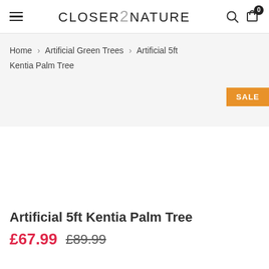CLOSER 2 NATURE
Home › Artificial Green Trees › Artificial 5ft Kentia Palm Tree
[Figure (other): Product image area with SALE badge in orange]
Artificial 5ft Kentia Palm Tree
£67.99 £89.99